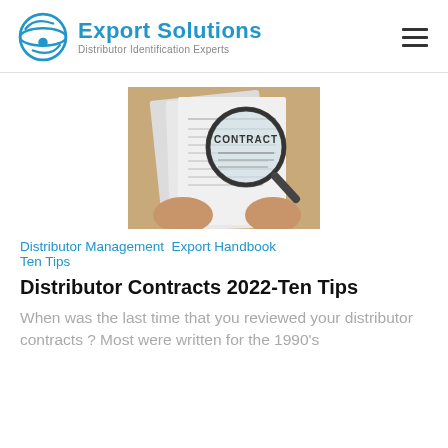Export Solutions – Distributor Identification Experts
[Figure (photo): Hands holding a magnifying glass over a document labeled CONTRACT, on a wooden surface with papers in the background]
Distributor Management  Export Handbook  Ten Tips
Distributor Contracts 2022-Ten Tips
When was the last time that you reviewed your distributor contracts ? Most were written for the 1990's